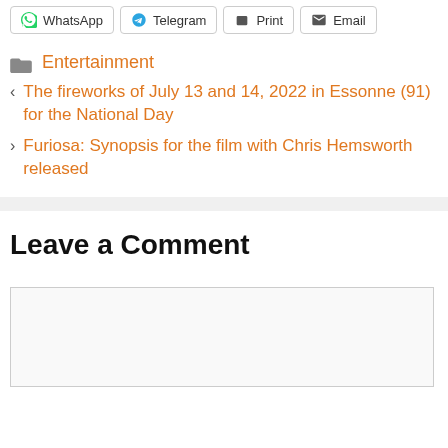WhatsApp
Telegram
Print
Email
Entertainment
< The fireworks of July 13 and 14, 2022 in Essonne (91) for the National Day
> Furiosa: Synopsis for the film with Chris Hemsworth released
Leave a Comment